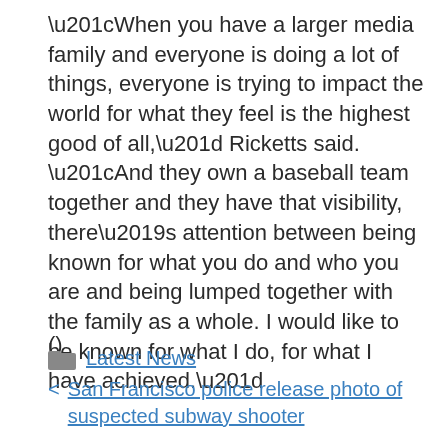“When you have a larger media family and everyone is doing a lot of things, everyone is trying to impact the world for what they feel is the highest good of all,” Ricketts said. “And they own a baseball team together and they have that visibility, there’s attention between being known for what you do and who you are and being lumped together with the family as a whole. I would like to be known for what I do, for what I have achieved.”
()
Latest News
San Francisco police release photo of suspected subway shooter